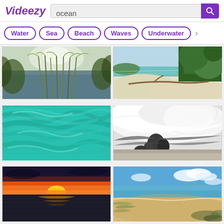[Figure (screenshot): Videezy website screenshot showing search results for 'ocean' with logo, search bar, tag filters (Water, Sea, Beach, Waves, Underwater), and a 2-column grid of 6 ocean video thumbnails: grassy ocean scene, tropical beach, turquoise water, black-and-white crashing wave, ocean sunset, and tropical beach with blue sky.]